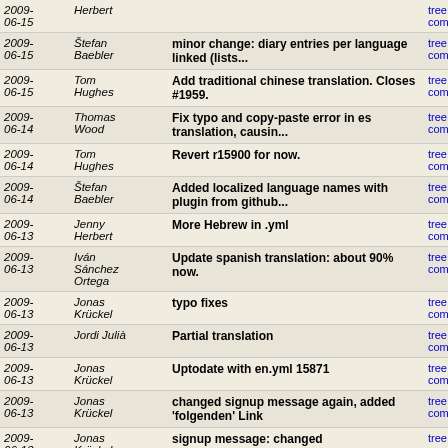| Date | Author | Message | Links |
| --- | --- | --- | --- |
| 2009-06-15 | Herbert |  | tree | commi... |
| 2009-06-15 | Štefan Baebler | minor change: diary entries per language linked (lists... | tree | commi... |
| 2009-06-15 | Tom Hughes | Add traditional chinese translation. Closes #1959. | tree | commi... |
| 2009-06-14 | Thomas Wood | Fix typo and copy-paste error in es translation, causin... | tree | commi... |
| 2009-06-14 | Tom Hughes | Revert r15900 for now. | tree | commi... |
| 2009-06-14 | Štefan Baebler | Added localized language names with plugin from github... | tree | commi... |
| 2009-06-13 | Jenny Herbert | More Hebrew in .yml | tree | commi... |
| 2009-06-13 | Iván Sánchez Ortega | Update spanish translation: about 90% now. | tree | commi... |
| 2009-06-13 | Jonas Krückel | typo fixes | tree | commi... |
| 2009-06-13 | Jordi Julià | Partial translation | tree | commi... |
| 2009-06-13 | Jonas Krückel | Uptodate with en.yml 15871 | tree | commi... |
| 2009-06-13 | Jonas Krückel | changed signup message again, added 'folgenden' Link | tree | commi... |
| 2009-06-13 | Jonas Krückel | signup message: changed bestätigungscode to bestätigung... | tree | commi... |
| 2009-06-13 | Jonas | improved translation of the signup message | tree | commi... |